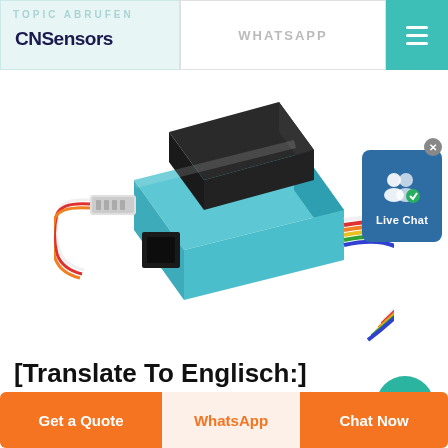CNSensors | WHATSAPP
[Figure (photo): A PM2.5 particle sensor module with light blue housing and a black top component, with multicolor ribbon cables attached to its side connector (white, red, orange, yellow, green). The module is shown at an angle on a white background.]
[Figure (other): Live Chat widget showing a teal/blue rounded rectangle with white user icons and a chat bubble icon, labeled 'Live Chat' in white text, with a close (x) button in the top right corner.]
[Translate To Englisch:] Ideen Zur CoronaKrise
Get a Quote | WhatsApp | Chat Now